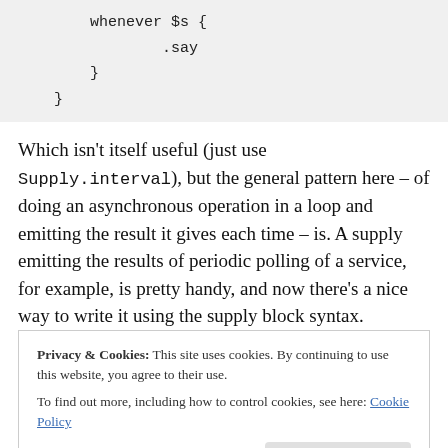whenever $s {
        .say
    }
}
Which isn't itself useful (just use Supply.interval), but the general pattern here – of doing an asynchronous operation in a loop and emitting the result it gives each time – is. A supply emitting the results of periodic polling of a service, for example, is pretty handy, and now there's a nice way to write it using the supply block syntax.
Privacy & Cookies: This site uses cookies. By continuing to use this website, you agree to their use.
To find out more, including how to control cookies, see here: Cookie Policy
synchronous emits from a Supply tapped by